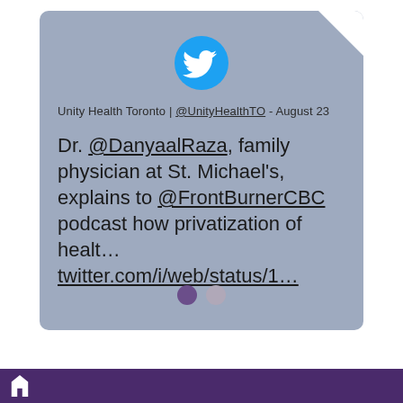[Figure (screenshot): A screenshot of a tweet from Unity Health Toronto (@UnityHealthTO) posted on August 23. The tweet reads: 'Dr. @DanyaalRaza, family physician at St. Michael's, explains to @FrontBurnerCBC podcast how privatization of healt... twitter.com/i/web/status/1...' The card has a light blue-grey background, folded top-right corner, Twitter bird icon at top, and pagination dots at bottom.]
Unity Health Toronto | @UnityHealthTO - August 23
Dr. @DanyaalRaza, family physician at St. Michael's, explains to @FrontBurnerCBC podcast how privatization of healt... twitter.com/i/web/status/1...
[Figure (logo): White logo mark on purple bottom bar]